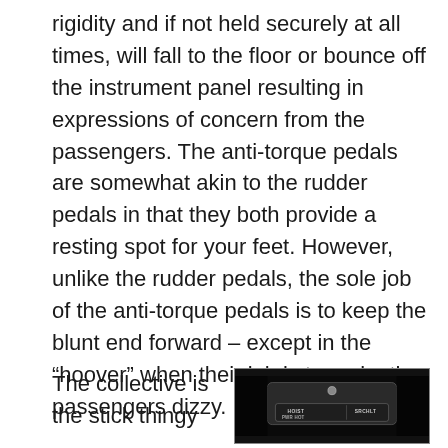rigidity and if not held securely at all times, will fall to the floor or bounce off the instrument panel resulting in expressions of concern from the passengers. The anti-torque pedals are somewhat akin to the rudder pedals in that they both provide a resting spot for your feet. However, unlike the rudder pedals, the sole job of the anti-torque pedals is to keep the blunt end forward – except in the “hoover” when their job is to make the passengers dizzy.
The collective is the stick thingy
[Figure (photo): Close-up photo of a helicopter cockpit control panel in dark lighting, showing labeled controls including HOIST PWR HOT and SRCHLT]